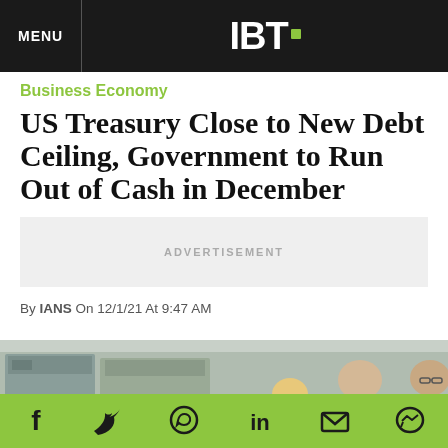MENU  IBT.
Business Economy
US Treasury Close to New Debt Ceiling, Government to Run Out of Cash in December
ADVERTISEMENT
By IANS On 12/1/21 At 9:47 AM
[Figure (photo): Photo of people working in a factory or industrial setting with machinery in the background]
Social share bar with icons: Facebook, Twitter, WhatsApp, LinkedIn, Email, Messenger